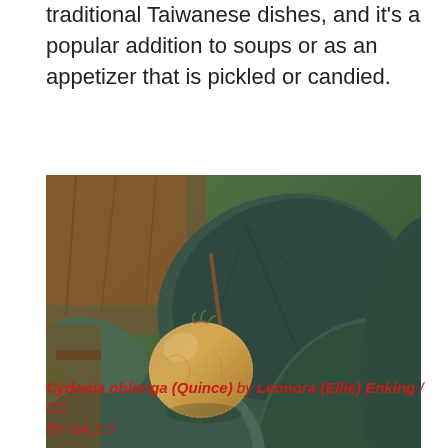traditional Taiwanese dishes, and it's a popular addition to soups or as an appetizer that is pickled or candied.
[Figure (photo): Close-up photograph of a quince fruit (Cydonia oblonga) hanging on the tree, surrounded by large dark green leaves. Background shows a rustic indoor/outdoor setting with wooden furniture.]
Cydonia oblonga (Quince) by Leonora (Ellie) Enking / CC BY-SA 2.0